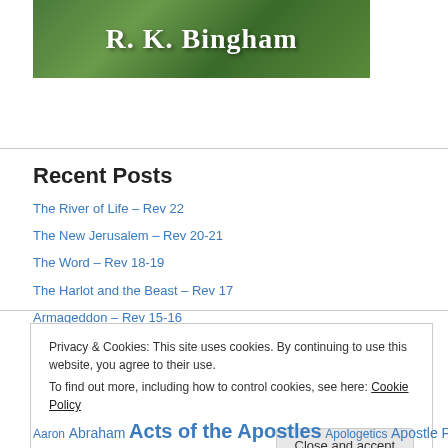[Figure (photo): Book or blog header image with green grassy background and white serif text reading 'R. K. Bingham']
Recent Posts
The River of Life – Rev 22
The New Jerusalem – Rev 20-21
The Word – Rev 18-19
The Harlot and the Beast – Rev 17
Armageddon – Rev 15-16
Privacy & Cookies: This site uses cookies. By continuing to use this website, you agree to their use.
To find out more, including how to control cookies, see here: Cookie Policy
Close and accept
Aaron Abraham Acts of the Apostles Apologetics Apostle Paul